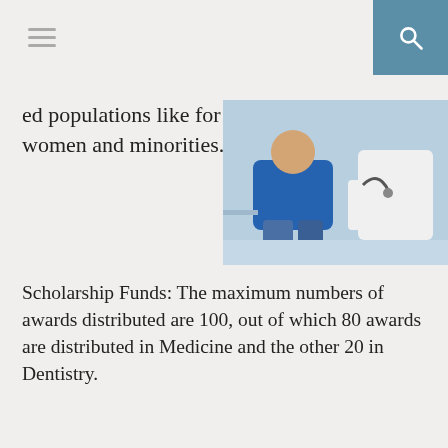ed populations like for women and minorities.
[Figure (photo): A doctor in white coat examining a patient who is seated; medical setting]
Scholarship Funds: The maximum numbers of awards distributed are 100, out of which 80 awards are distributed in Medicine and the other 20 in Dentistry.
ADVERTISEMENT
03. Best International Medical Schools
04. Easy Grants for Women